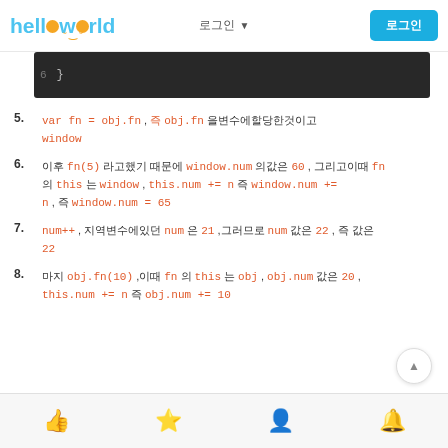helloworld 로그인 버튼
[Figure (screenshot): Dark code editor block showing line 6 with closing brace]
5. var fn = obj.fn , 즉 obj.fn 을 변수에할당한것이고 window
6. 이후 fn(5) 라고했기 때문에 window.num 의값은 60 , 그리고이때 fn 의 this 는 window , this.num += n 즉 window.num += n , 즉 window.num = 65
7. num++ , 지역변수에있던 num 은 21 ,그러므로 num 값은 22 , 즉 22
8. 마지 obj.fn(10) ,이때 fn 의 this 는 obj , obj.num 값은 20 , this.num += n 즉 obj.num += 10
좋아요 즐겨찾기 팔로우 알림